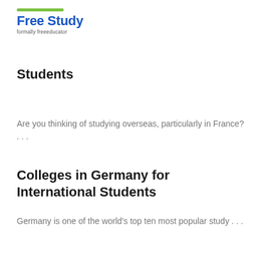Free Study — formally freeeducator
Students
Are you thinking of studying overseas, particularly in France? . . .
Colleges in Germany for International Students
Germany is one of the world's top ten most popular study . . .